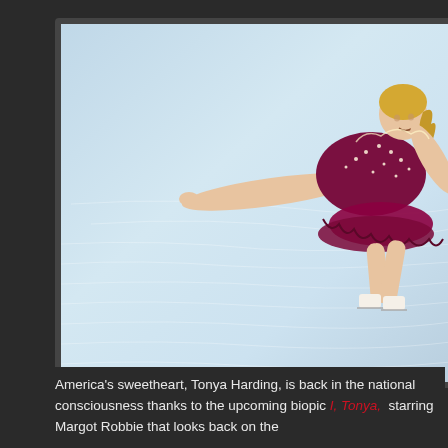[Figure (photo): A female figure skater in a dark maroon/burgundy costume with rhinestone decorations performing on ice, arms extended outward, blonde hair in a ponytail, captured mid-performance against a light blue-grey ice background.]
America's sweetheart, Tonya Harding, is back in the national consciousness thanks to the upcoming biopic I, Tonya, starring Margot Robbie that looks back on the